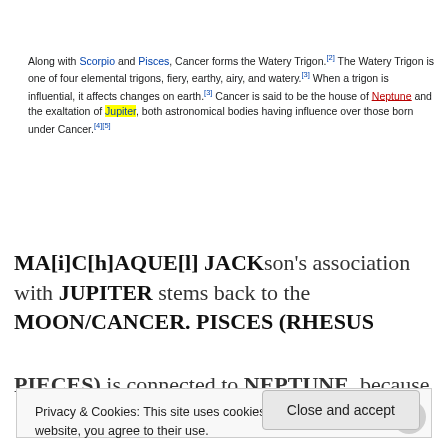Along with Scorpio and Pisces, Cancer forms the Watery Trigon.[2] The Watery Trigon is one of four elemental trigons, fiery, earthy, airy, and watery.[3] When a trigon is influential, it affects changes on earth.[3] Cancer is said to be the house of Neptune and the exaltation of Jupiter, both astronomical bodies having influence over those born under Cancer.[4][5]
MA[i]C[h]AQUE[l] JACKson's association with JUPITER stems back to the MOON/CANCER. PISCES (RHESUS PIECES) is connected to NEPTUNE, because NEPTUNE
Privacy & Cookies: This site uses cookies. By continuing to use this website, you agree to their use. To find out more, including how to control cookies, see here: Cookie Policy
Close and accept